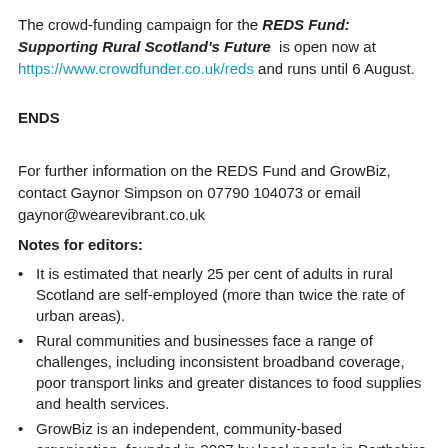The crowd-funding campaign for the REDS Fund: Supporting Rural Scotland's Future is open now at https://www.crowdfunder.co.uk/reds and runs until 6 August.
ENDS
For further information on the REDS Fund and GrowBiz, contact Gaynor Simpson on 07790 104073 or email gaynor@wearevibrant.co.uk
Notes for editors:
It is estimated that nearly 25 per cent of adults in rural Scotland are self-employed (more than twice the rate of urban areas).
Rural communities and businesses face a range of challenges, including inconsistent broadband coverage, poor transport links and greater distances to food supplies and health services.
GrowBiz is an independent, community-based organisation, founded in 2007 by local people in Perthshire to support rural enterprises. GrowBiz provides support to anyone starting or growing a business in rural Scotland.
GrowBiz is funded by Perth and Kinross Council, Scottish Enterprise and the Scottish Government. The Making Rural Business Digital project is